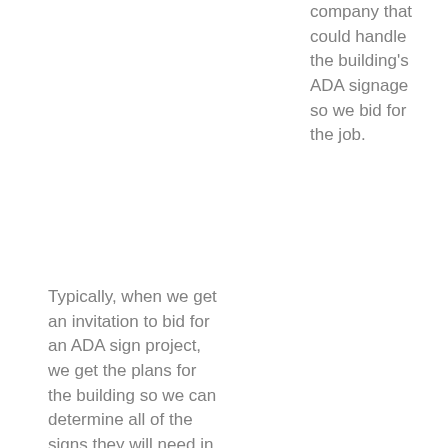company that could handle the building's ADA signage so we bid for the job.
Typically, when we get an invitation to bid for an ADA sign project, we get the plans for the building so we can determine all of the signs they will need in order to be up to code and create a takeoff. A takeoff is a list of materials with quantities and types that are necessary to make all